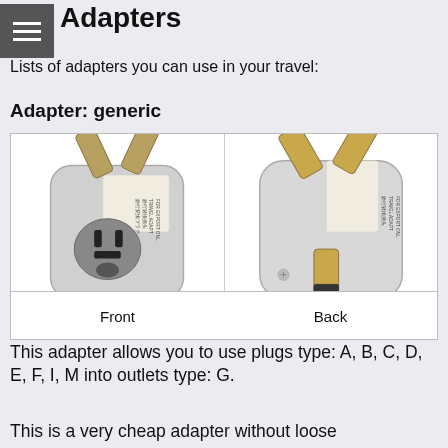Adapters
Lists of adapters you can use in your travel:
Adapter: generic
[Figure (photo): Two views of a generic travel plug adapter (white/grey plastic with brass pins). Left: front view showing universal socket. Right: back view showing UK-style 3-pin plug (type G).]
Front     Back
This adapter allows you to use plugs type: A, B, C, D, E, F, I, M into outlets type: G.
This is a very cheap adapter without loose